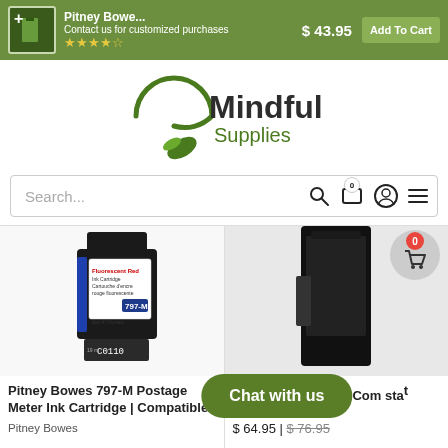[Figure (screenshot): Top green banner with product thumbnail, contact message 'Contact us for customized purchases', price $43.95, and 'Add To Cart' button]
[Figure (logo): Mindful Supplies logo with green circular leaf icon and text 'Mindful Supplies']
[Figure (screenshot): Search bar with icons for search, cart (0), user account, and hamburger menu]
[Figure (photo): Pitney Bowes 797-M Fluorescent Red Ink Cartridge product photo]
Pitney Bowes 797-M Postage Meter Ink Cartridge | Compatible
Pitney Bowes
$ 43.95 | $ 79.99
[Figure (photo): Pitney Bowes SL- product photo (partially visible)]
Pitney Bowes SL- | Com stat
$ 64.95 | $ 76.95
[Figure (other): Chat with us button overlay]